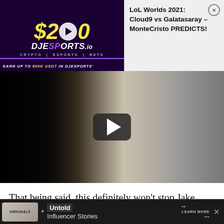[Figure (photo): DJEsports.io advertisement banner with '$200' text, play button, logo, and 'EARN UP TO 800K USDT IN DJESPORTS' text on dark purple background]
LoL Worlds 2021: Cloud9 vs Galatasaray – MonteCristo PREDICTS!
[Figure (screenshot): Video thumbnail showing two men facing each other - one tattooed and shirtless on left, one on right being held by chin - with a YouTube-style play button in the center]
That being said, this definitely won't stop Jake from bringing his A-game to the ring on August 6.
[Figure (photo): Bottom advertisement banner for 'Untold Influencer Stories' with Originals logo and Learn More button]